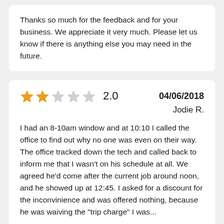Thanks so much for the feedback and for your business. We appreciate it very much. Please let us know if there is anything else you may need in the future.
2.0  04/06/2018  Jodie R.
I had an 8-10am window and at 10:10 I called the office to find out why no one was even on their way. The office tracked down the tech and called back to inform me that I wasn't on his schedule at all. We agreed he'd come after the current job around noon, and he showed up at 12:45. I asked for a discount for the inconvinience and was offered nothing, because he was waiving the "trip charge" I was...